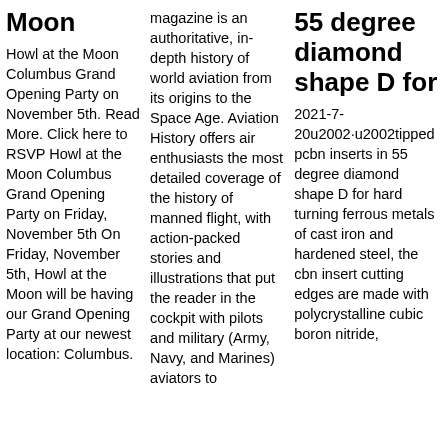Moon
Howl at the Moon Columbus Grand Opening Party on November 5th. Read More. Click here to RSVP Howl at the Moon Columbus Grand Opening Party on Friday, November 5th On Friday, November 5th, Howl at the Moon will be having our Grand Opening Party at our newest location: Columbus.
magazine is an authoritative, in-depth history of world aviation from its origins to the Space Age. Aviation History offers air enthusiasts the most detailed coverage of the history of manned flight, with action-packed stories and illustrations that put the reader in the cockpit with pilots and military (Army, Navy, and Marines) aviators to
55 degree diamond shape D for
2021-7-20u2002·u2002tipped pcbn inserts in 55 degree diamond shape D for hard turning ferrous metals of cast iron and hardened steel, the cbn insert cutting edges are made with polycrystalline cubic boron nitride,